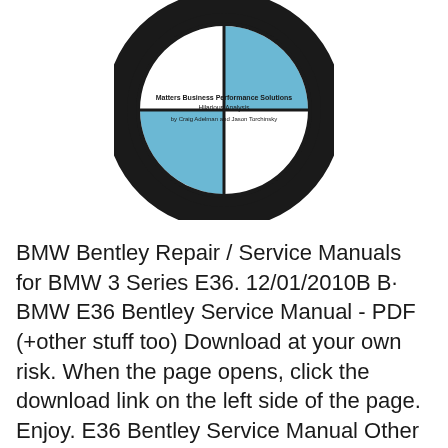[Figure (logo): BMW roundel logo with blue and white quarters, black ring, overlaid with text 'Matters Business Performance Solutions, Hilarious Analysis, by Craig...']
BMW Bentley Repair / Service Manuals for BMW 3 Series E36. 12/01/2010В В· BMW E36 Bentley Service Manual - PDF (+other stuff too) Download at your own risk. When the page opens, click the download link on the left side of the page. Enjoy. E36 Bentley Service Manual Other stuff: E36 Owners Manual M42 Technical overview E36/E46/Z3 Convertible Tops Show Full Signature. Save Share. Reply. Torque В· Millions of them. Joined Dec 29, 2003 В· 14,879 Posts . вЂ¦. Please write to Robert